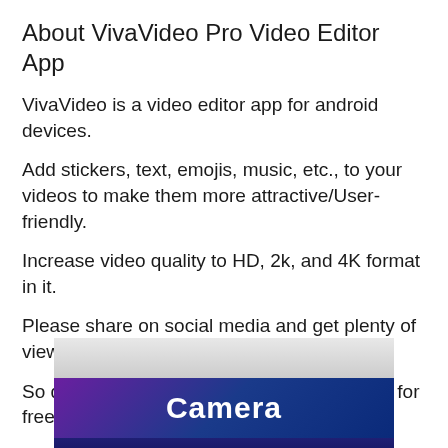About VivaVideo Pro Video Editor App
VivaVideo is a video editor app for android devices.
Add stickers, text, emojis, music, etc., to your videos to make them more attractive/User-friendly.
Increase video quality to HD, 2k, and 4K format in it.
Please share on social media and get plenty of views and likes on it.
So download the VivaVideo PRO MOD APK for free.
[Figure (photo): App screenshot showing a camera interface with a blue/purple gradient banner and the word 'Camera' in bold white text]